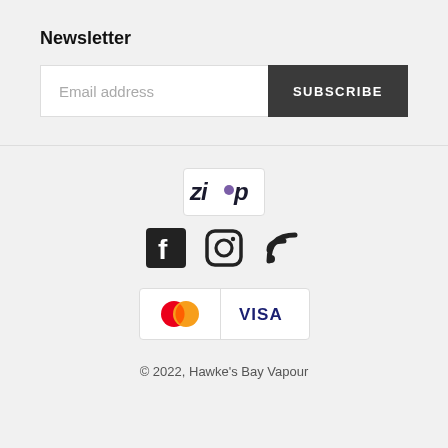Newsletter
Email address
SUBSCRIBE
[Figure (logo): Zip payment logo in a white rounded box]
[Figure (logo): Facebook, Instagram, and RSS social media icons]
[Figure (logo): Mastercard and Visa payment icons]
© 2022, Hawke's Bay Vapour